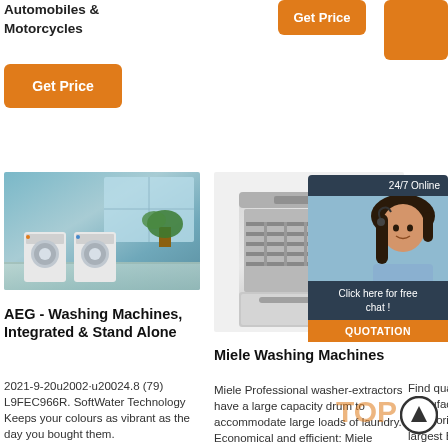Automobiles & Motorcycles
[Figure (other): Orange Get Price button (top center)]
[Figure (other): Orange button (top right)]
[Figure (other): Orange Get Price button (left)]
[Figure (photo): Laundry room with washing machines and plants]
AEG - Washing Machines, Integrated & Stand Alone
2021-9-20u2002·u20024.8 (79) L9FEC966R. SoftWater Technology Keeps your colours as vibrant as the day you bought them.
[Figure (photo): Miele dishwasher open with rack visible]
Miele Washing Machines
Miele Professional washer-extractors have a large capacity drum to accommodate large loads of laundry. Economical and efficient: Miele
[Figure (other): 24/7 Online chat widget with customer service representative]
Manufacturers, Suppliers, Exporters Directory On ...
Find quality Products, Suppliers, Manufacturers and Exporters by categories here. Alibaba as the largest B2B